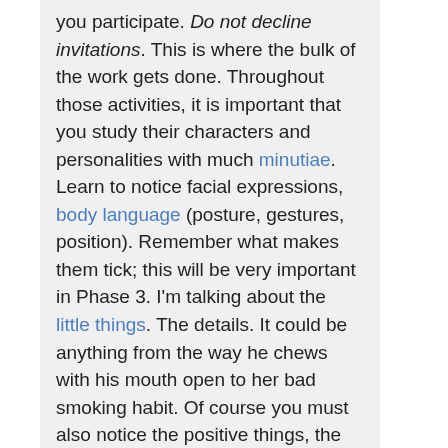you participate. Do not decline invitations. This is where the bulk of the work gets done. Throughout those activities, it is important that you study their characters and personalities with much minutiae. Learn to notice facial expressions, body language (posture, gestures, position). Remember what makes them tick; this will be very important in Phase 3. I'm talking about the little things. The details. It could be anything from the way he chews with his mouth open to her bad smoking habit. Of course you must also notice the positive things, the way he handles uncomfortable situations, the way he